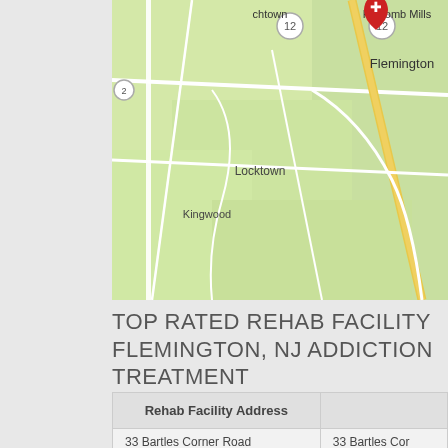[Figure (map): Google Maps style map showing Flemington NJ area with roads, Locktown, Kingwood, Holcomb Mills labeled. A red medical location pin marks Flemington.]
TOP RATED REHAB FACILITY FLEMINGTON, NJ ADDICTION TREATMENT
| Rehab Facility Address |  |
| --- | --- |
| 33 Bartles Corner Road
Flemington NJ New Jersey, 08822 | 33 Bartles Cor
Flemington NJ |
|  | Call 800-839-1663 for Drug Rehab in Flemington |